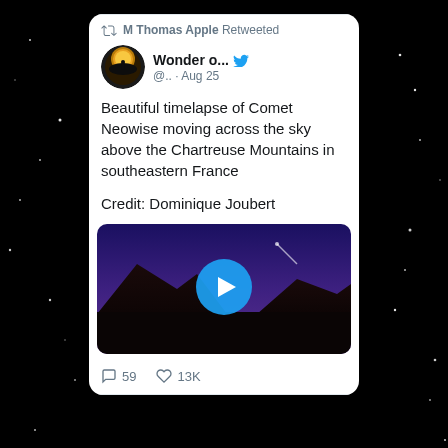[Figure (screenshot): Twitter/social media screenshot showing a retweet by M Thomas Apple of a Wonder o... account post about a beautiful timelapse of Comet Neowise moving across the sky above the Chartreuse Mountains in southeastern France, credited to Dominique Joubert, with a video thumbnail showing mountains against a purple night sky with a play button, and engagement metrics showing 59 comments and 13K likes. The screenshot is overlaid on a black starry night sky background.]